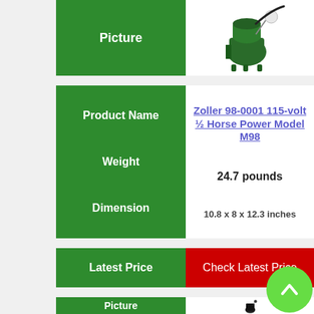[Figure (photo): Green submersible sump pump (Zoller M98) with float switch and power cord]
|  |  |
| --- | --- |
| Product Name | Zoller 98-0001 115-volt ½ Horse Power Model M98 |
| Weight | 24.7 pounds |
| Dimension | 10.8 x 8 x 12.3 inches |
| Latest Price | Check Latest Price |
| --- | --- |
[Figure (photo): Black submersible sewage pump with float switch and legs]